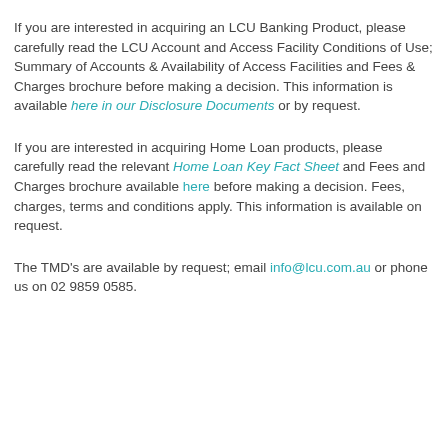If you are interested in acquiring an LCU Banking Product, please carefully read the LCU Account and Access Facility Conditions of Use; Summary of Accounts & Availability of Access Facilities and Fees & Charges brochure before making a decision. This information is available here in our Disclosure Documents or by request.
If you are interested in acquiring Home Loan products, please carefully read the relevant Home Loan Key Fact Sheet and Fees and Charges brochure available here before making a decision. Fees, charges, terms and conditions apply. This information is available on request.
The TMD's are available by request; email info@lcu.com.au or phone us on 02 9859 0585.